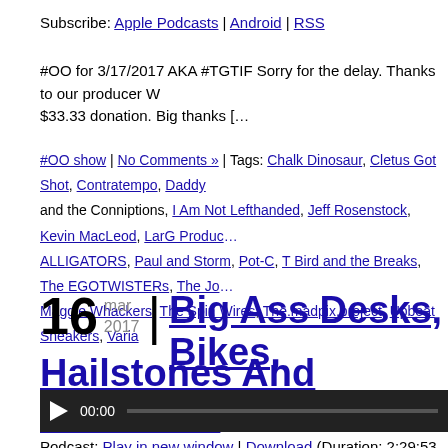Subscribe: Apple Podcasts | Android | RSS
#OO for 3/17/2017 AKA #TGTIF Sorry for the delay. Thanks to our producer W... $33.33 donation. Big thanks [&hellip]
#OO show | No Comments » | Tags: Chalk Dinosaur, Cletus Got Shot, Contratempo, Daddy and the Conniptions, I Am Not Lefthanded, Jeff Rosenstock, Kevin MacLeod, LarG Products, ALLIGATORS, Paul and Storm, Pot-C, T Bird and the Breaks, The EGOTWISTERs, The Jo... Maggie Whackers, The Spin Wires, The.madpix.project, Upbeat Sneakers, Varia
16 mar 2017 | Big Ass Desks, Bikes... Hailstones And Waterloss
[Figure (other): Audio player with play button, 00:00 timestamp, and progress bar]
Podcast: Play in new window | Download (Duration: 2:29:53 — 343.4MB)
Subscribe: Apple Podcasts | Android | RSS